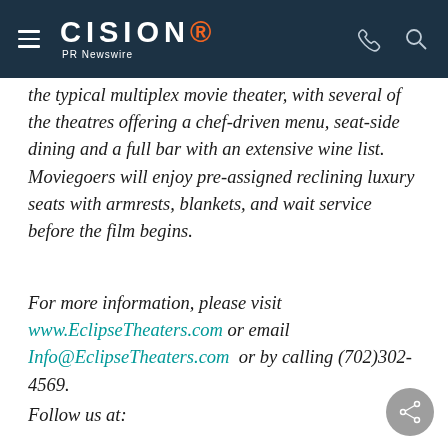CISION PR Newswire
the typical multiplex movie theater, with several of the theatres offering a chef-driven menu, seat-side dining and a full bar with an extensive wine list. Moviegoers will enjoy pre-assigned reclining luxury seats with armrests, blankets, and wait service before the film begins.
For more information, please visit www.EclipseTheaters.com or email Info@EclipseTheaters.com or by calling (702)302-4569.
Follow us at: